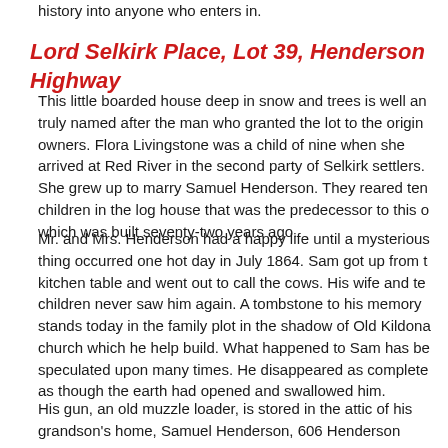history into anyone who enters in.
Lord Selkirk Place, Lot 39, Henderson Highway
This little boarded house deep in snow and trees is well an truly named after the man who granted the lot to the origin owners. Flora Livingstone was a child of nine when she arrived at Red River in the second party of Selkirk settlers. She grew up to marry Samuel Henderson. They reared ten children in the log house that was the predecessor to this o which was built seventy-two years ago.
Mr. and Mrs. Henderson had a happy life until a mysterious thing occurred one hot day in July 1864. Sam got up from t kitchen table and went out to call the cows. His wife and te children never saw him again. A tombstone to his memory stands today in the family plot in the shadow of Old Kildona church which he help build. What happened to Sam has be speculated upon many times. He disappeared as complete as though the earth had opened and swallowed him.
His gun, an old muzzle loader, is stored in the attic of his grandson's home, Samuel Henderson, 606 Henderson